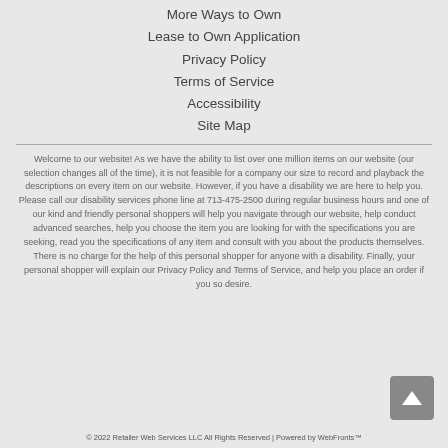More Ways to Own
Lease to Own Application
Privacy Policy
Terms of Service
Accessibility
Site Map
Welcome to our website! As we have the ability to list over one million items on our website (our selection changes all of the time), it is not feasible for a company our size to record and playback the descriptions on every item on our website. However, if you have a disability we are here to help you. Please call our disability services phone line at 713-475-2500 during regular business hours and one of our kind and friendly personal shoppers will help you navigate through our website, help conduct advanced searches, help you choose the item you are looking for with the specifications you are seeking, read you the specifications of any item and consult with you about the products themselves. There is no charge for the help of this personal shopper for anyone with a disability. Finally, your personal shopper will explain our Privacy Policy and Terms of Service, and help you place an order if you so desire.
© 2022 Retailer Web Services LLC All Rights Reserved | Powered by WebFronts™